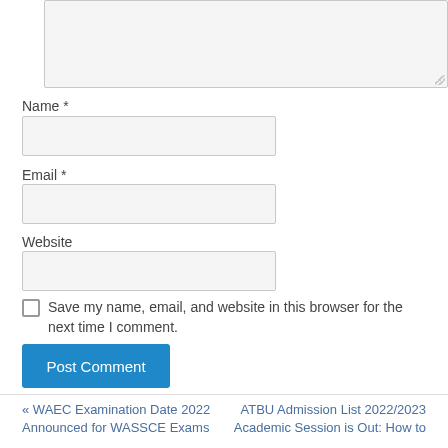[Figure (screenshot): A textarea input box with light gray background and resize handle at bottom-right]
Name *
[Figure (screenshot): Name text input field with light gray background]
Email *
[Figure (screenshot): Email text input field with light gray background]
Website
[Figure (screenshot): Website text input field with light gray background]
Save my name, email, and website in this browser for the next time I comment.
Post Comment
« WAEC Examination Date 2022 Announced for WASSCE Exams
ATBU Admission List 2022/2023 Academic Session is Out: How to